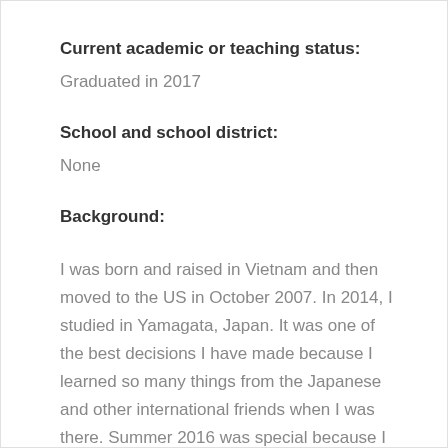Current academic or teaching status:
Graduated in 2017
School and school district:
None
Background:
I was born and raised in Vietnam and then moved to the US in October 2007. In 2014, I studied in Yamagata, Japan. It was one of the best decisions I have made because I learned so many things from the Japanese and other international friends when I was there. Summer 2016 was special because I was an intern for NASA and specifically for